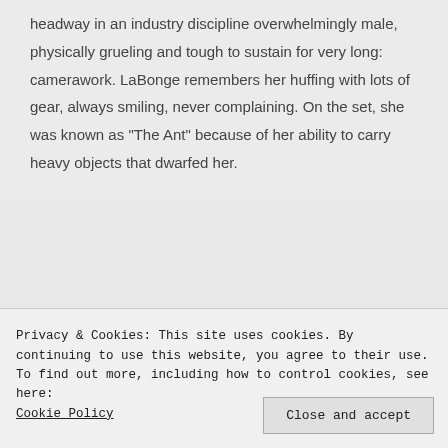headway in an industry discipline overwhelmingly male, physically grueling and tough to sustain for very long: camerawork. LaBonge remembers her huffing with lots of gear, always smiling, never complaining. On the set, she was known as "The Ant" because of her ability to carry heavy objects that dwarfed her.
Privacy & Cookies: This site uses cookies. By continuing to use this website, you agree to their use.
To find out more, including how to control cookies, see here: Cookie Policy